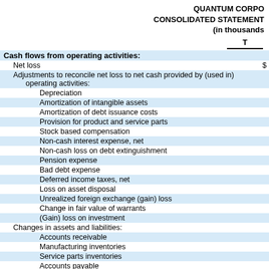QUANTUM CORPO CONSOLIDATED STATEMENT (in thousands
|  | T |
| --- | --- |
| Cash flows from operating activities: |  |
| Net loss | $ |
| Adjustments to reconcile net loss to net cash provided by (used in) operating activities: |  |
| Depreciation |  |
| Amortization of intangible assets |  |
| Amortization of debt issuance costs |  |
| Provision for product and service parts |  |
| Stock based compensation |  |
| Non-cash interest expense, net |  |
| Non-cash loss on debt extinguishment |  |
| Pension expense |  |
| Bad debt expense |  |
| Deferred income taxes, net |  |
| Loss on asset disposal |  |
| Unrealized foreign exchange (gain) loss |  |
| Change in fair value of warrants |  |
| (Gain) loss on investment |  |
| Changes in assets and liabilities: |  |
| Accounts receivable |  |
| Manufacturing inventories |  |
| Service parts inventories |  |
| Accounts payable |  |